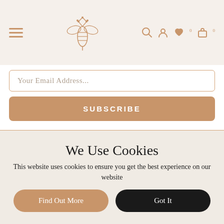[Figure (screenshot): Website navigation bar with hamburger menu on the left, bee logo in center, and icons (search, user, heart with 0 badge, bag with 0 badge) on the right]
Your Email Address...
SUBSCRIBE
By clicking on SUBSCRIBE, you agree to receive marketing about The Pretty Bee Co. and our products via email. You have the right to withdraw your consent at any time using the unsubscribe link provided in each newsletter email.
[Figure (illustration): Two circular social media icons: Instagram and Facebook, in golden/tan color]
We Use Cookies
This website uses cookies to ensure you get the best experience on our website
Find Out More
Got It